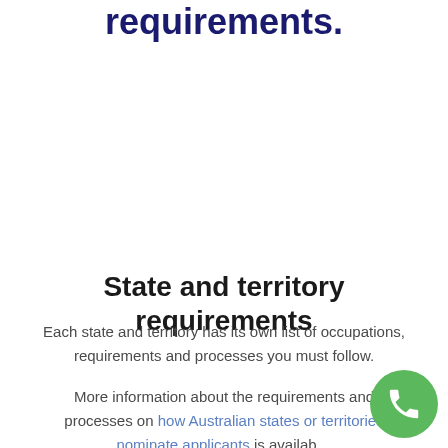requirements.
State and territory requirements
Each state and territory has its own list of occupations, requirements and processes you must follow.
More information about the requirements and processes on how Australian states or territories nominate applicants is availab...
[Figure (illustration): Green circular phone/call button in bottom right corner]